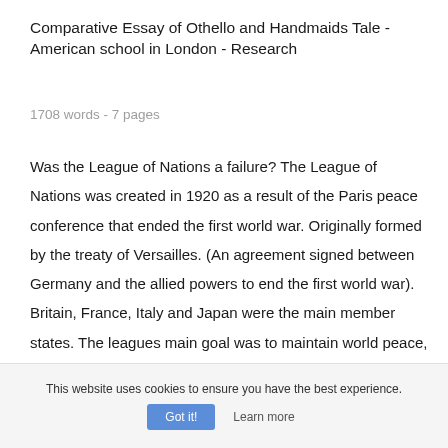Comparative Essay of Othello and Handmaids Tale - American school in London - Research
1708 words - 7 pages
Was the League of Nations a failure? The League of Nations was created in 1920 as a result of the Paris peace conference that ended the first world war. Originally formed by the treaty of Versailles. (An agreement signed between Germany and the allied powers to end the first world war). Britain, France, Italy and Japan were the main member states. The leagues main goal was to maintain world peace, to resolve
This website uses cookies to ensure you have the best experience.